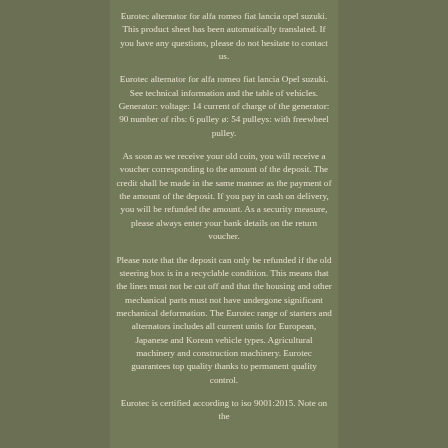Eurotec alternator for alfa romeo fiat lancia opel suzuki. This product sheet has been automatically translated. If you have any questions, please do not hesitate to contact us.
Eurotec alternator for alfa romeo fiat lancia Opel suzuki. See technical information and the table of vehicles. Generator: voltage: 14 current of charge of the generator: 90 number of ribs: 6 pulley ø: 54 pulleys: with freewheel pulley.
As soon as we receive your old coin, you will receive a voucher corresponding to the amount of the deposit. The credit shall be made in the same manner as the payment of the amount of the deposit. If you pay in cash on delivery, you will be refunded the amount. As a security measure, please always enter your bank details on the return voucher.
Please note that the deposit can only be refunded if the old steering box is in a recyclable condition. This means that the lines must not be cut off and that the housing and other mechanical parts must not have undergone significant mechanical deformation. The Eurotec range of starters and alternators includes all current units for European, Japanese and Korean vehicle types. Agricultural machinery and construction machinery. Eurotec guarantees top quality thanks to permanent quality control.
Eurotec is certified according to iso 9001:2015. Note on the